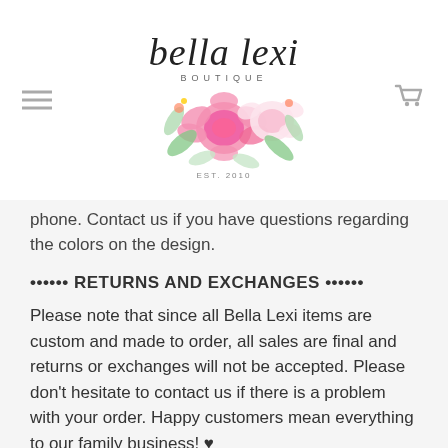[Figure (logo): Bella Lexi Boutique logo with cursive script text, watercolor floral arrangement of pink peonies and greenery, and 'EST. 2010' text below]
phone. Contact us if you have questions regarding the colors on the design.
•••••• RETURNS AND EXCHANGES ••••••
Please note that since all Bella Lexi items are custom and made to order, all sales are final and returns or exchanges will not be accepted. Please don't hesitate to contact us if there is a problem with your order. Happy customers mean everything to our family business! ♥